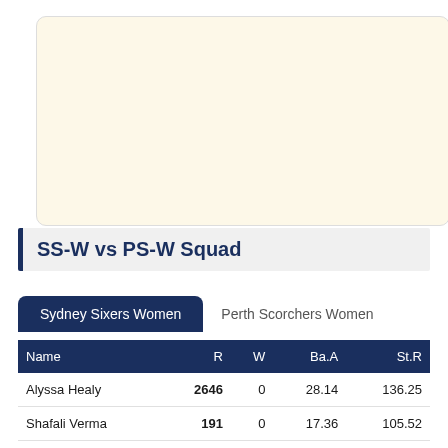[Figure (other): Blank cream/beige colored image area, likely a photo placeholder]
SS-W vs PS-W Squad
Sydney Sixers Women | Perth Scorchers Women (tabs)
| Name | R | W | Ba.A | St.R |
| --- | --- | --- | --- | --- |
| Alyssa Healy | 2646 | 0 | 28.14 | 136.25 |
| Shafali Verma | 191 | 0 | 17.36 | 105.52 |
| Ellyse ... |  |  |  |  |